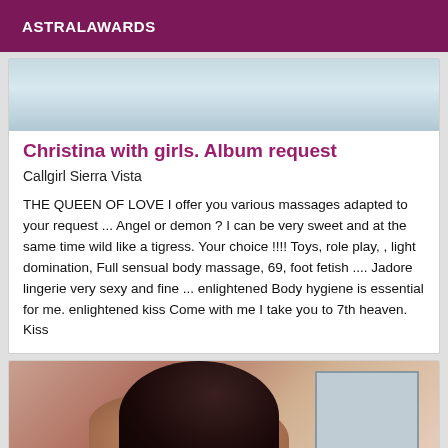ASTRALAWARDS
[Figure (photo): Partial photo showing rumpled light blue fabric/bedding, cropped at top of card]
Christina with girls. Album request
Callgirl Sierra Vista
THE QUEEN OF LOVE I offer you various massages adapted to your request ... Angel or demon ? I can be very sweet and at the same time wild like a tigress. Your choice !!!! Toys, role play, , light domination, Full sensual body massage, 69, foot fetish .... Jadore lingerie very sexy and fine ... enlightened Body hygiene is essential for me. enlightened kiss Come with me I take you to 7th heaven. Kiss
[Figure (photo): Partial photo showing a dark-haired person from behind, with bare shoulder, in front of a mirror]